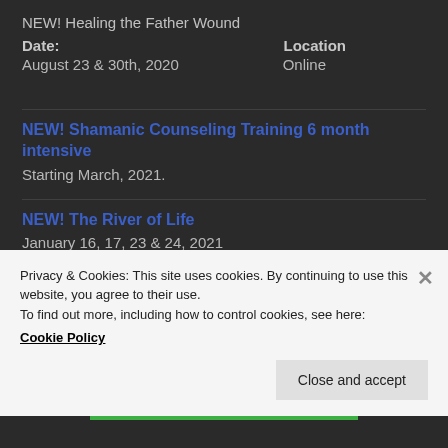NEW! Healing the Father Wound
Date:   Location
August 23 & 30th, 2020   Online
NEW! Shamanic Counseling Training 6 month intensive
Starting March, 2021.
NEW! The River of Life
January 16, 17, 23 & 24, 2021
The Empowered Woman
Privacy & Cookies: This site uses cookies. By continuing to use this website, you agree to their use.
To find out more, including how to control cookies, see here:
Cookie Policy
Close and accept